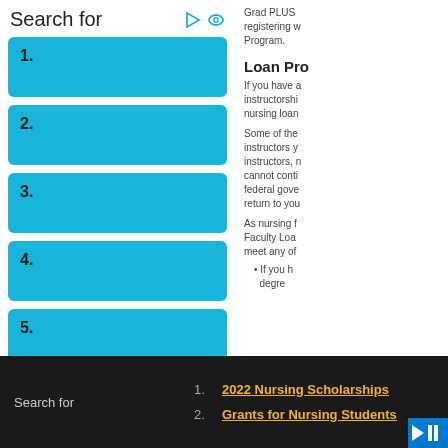Search for
1.
2.
3.
4.
5.
Grad PLUS registering w Program.
Loan Pro
If you have a instructorshi nursing loan
Some of the instructors y instructors, n cannot conti federal gove return to you
As nursing f Faculty Loa meet any of
If you h degre
Search for
1. 2022 Nursing Scholarships
2. Grants for Nursing Students